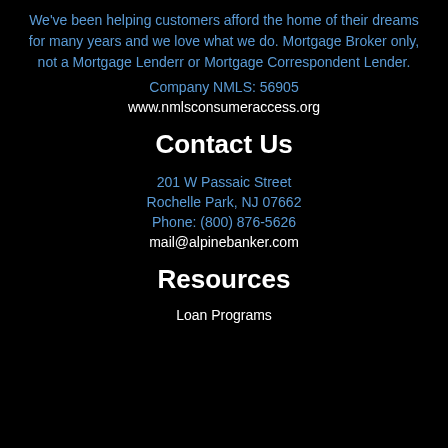We've been helping customers afford the home of their dreams for many years and we love what we do. Mortgage Broker only, not a Mortgage Lenderr or Mortgage Correspondent Lender.
Company NMLS: 56905
www.nmlsconsumeraccess.org
Contact Us
201 W Passaic Street
Rochelle Park, NJ 07662
Phone: (800) 876-5626
mail@alpinebanker.com
Resources
Loan Programs